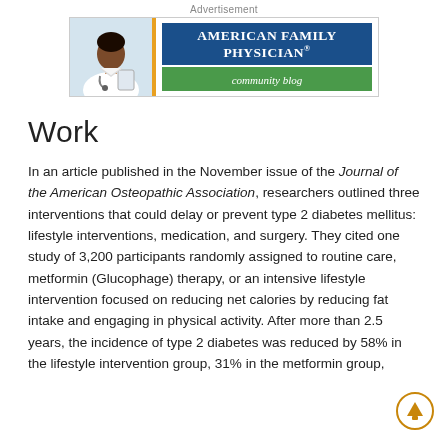Advertisement
[Figure (logo): American Family Physician community blog advertisement banner with doctor photo, orange divider, blue title box and green subtitle box]
Work
In an article published in the November issue of the Journal of the American Osteopathic Association, researchers outlined three interventions that could delay or prevent type 2 diabetes mellitus: lifestyle interventions, medication, and surgery. They cited one study of 3,200 participants randomly assigned to routine care, metformin (Glucophage) therapy, or an intensive lifestyle intervention focused on reducing net calories by reducing fat intake and engaging in physical activity. After more than 2.5 years, the incidence of type 2 diabetes was reduced by 58% in the lifestyle intervention group, 31% in the metformin group,